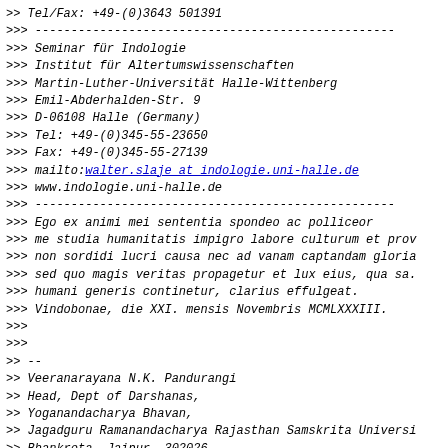>> Tel/Fax: +49-(0)3643 501391
>>> --------------------------------------------------
>>> Seminar für Indologie
>>> Institut für Altertumswissenschaften
>>> Martin-Luther-Universität Halle-Wittenberg
>>> Emil-Abderhalden-Str. 9
>>> D-06108 Halle (Germany)
>>> Tel: +49-(0)345-55-23650
>>> Fax: +49-(0)345-55-27139
>>> mailto:walter.slaje at indologie.uni-halle.de
>>> www.indologie.uni-halle.de
>>> --------------------------------------------------
>>> Ego ex animi mei sententia spondeo ac polliceor
>>> me studia humanitatis impigro labore culturum et prov
>>> non sordidi lucri causa nec ad vanam captandam gloria
>>> sed quo magis veritas propagetur et lux eius, qua sa.
>>> humani generis continetur, clarius effulgeat.
>>> Vindobonae, die XXI. mensis Novembris MCMLXXXIII.
>>>
>>>
>> --
>> Veeranarayana N.K. Pandurangi
>> Head, Dept of Darshanas,
>> Yoganandacharya Bhavan,
>> Jagadguru Ramanandacharya Rajasthan Samskrita Universi
>> Bhankrota, Jaipur, 302026.
>>
>>
>
>